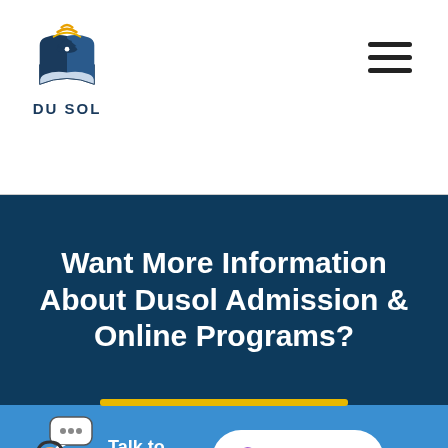[Figure (logo): DU SOL logo — open book with wifi signal and mortarboard, text DU SOL below]
[Figure (illustration): Hamburger menu icon (three horizontal lines)]
Want More Information About Dusol Admission & Online Programs?
[Figure (illustration): Customer support agent with headset and speech bubble, Talk to an Expert text]
[Figure (illustration): Get a Call button with phone/call icon in purple]